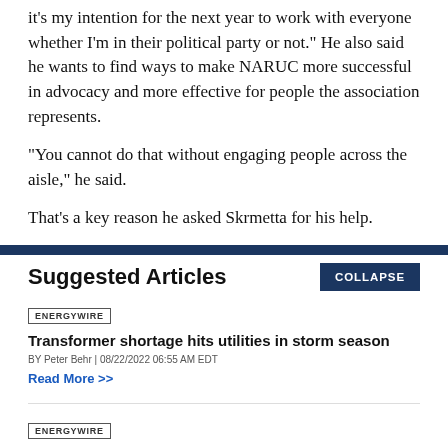it's my intention for the next year to work with everyone whether I'm in their political party or not." He also said he wants to find ways to make NARUC more successful in advocacy and more effective for people the association represents.
"You cannot do that without engaging people across the aisle," he said.
That's a key reason he asked Skrmetta for his help.
Suggested Articles
ENERGYWIRE
Transformer shortage hits utilities in storm season
BY Peter Behr | 08/22/2022 06:55 AM EDT
Read More >>
ENERGYWIRE
Permitting deal: Pipeline boom or 'propaganda exercise?'